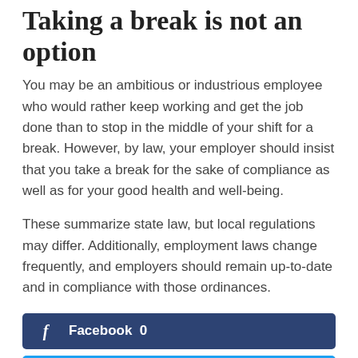Taking a break is not an option
You may be an ambitious or industrious employee who would rather keep working and get the job done than to stop in the middle of your shift for a break. However, by law, your employer should insist that you take a break for the sake of compliance as well as for your good health and well-being.
These summarize state law, but local regulations may differ. Additionally, employment laws change frequently, and employers should remain up-to-date and in compliance with those ordinances.
[Figure (other): Facebook social share button with count 0]
[Figure (other): Twitter social share button]